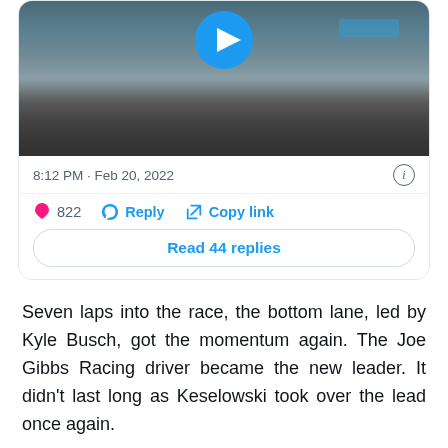[Figure (screenshot): Twitter/social media card showing a video thumbnail of a racing track with a blue play button, timestamp '8:12 PM · Feb 20, 2022', an info icon, action buttons (heart with 822, Reply, Copy link), and a 'Read 44 replies' button]
Seven laps into the race, the bottom lane, led by Kyle Busch, got the momentum again. The Joe Gibbs Racing driver became the new leader. It didn't last long as Keselowski took over the lead once again.
The bottom lane was fast once again, so Keselowski and Busch were exchanging the lead back-and-forth. Eventually, the top lane fell off.